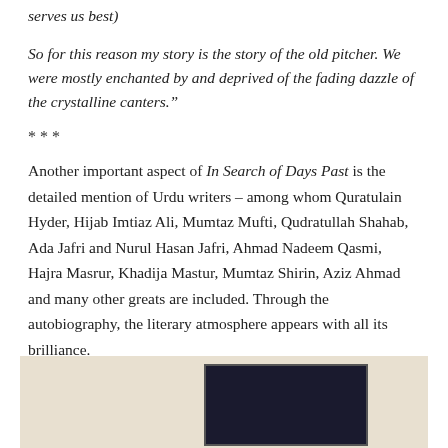serves us best)
So for this reason my story is the story of the old pitcher. We were mostly enchanted by and deprived of the fading dazzle of the crystalline canters.”
***
Another important aspect of In Search of Days Past is the detailed mention of Urdu writers – among whom Quratulain Hyder, Hijab Imtiaz Ali, Mumtaz Mufti, Qudratullah Shahab, Ada Jafri and Nurul Hasan Jafri, Ahmad Nadeem Qasmi, Hajra Masrur, Khadija Mastur, Mumtaz Shirin, Aziz Ahmad and many other greats are included. Through the autobiography, the literary atmosphere appears with all its brilliance.
[Figure (photo): Partial view of a photograph showing a dark framed image, possibly a book cover or portrait, against a light beige background.]